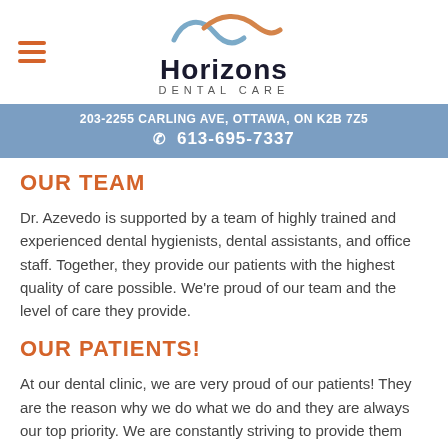[Figure (logo): Horizons Dental Care logo with wave graphic above text]
203-2255 CARLING AVE, OTTAWA, ON K2B 7Z5
613-695-7337
OUR TEAM
Dr. Azevedo is supported by a team of highly trained and experienced dental hygienists, dental assistants, and office staff. Together, they provide our patients with the highest quality of care possible. We're proud of our team and the level of care they provide.
OUR PATIENTS!
At our dental clinic, we are very proud of our patients! They are the reason why we do what we do and they are always our top priority. We are constantly striving to provide them with the best possible care and the latest technologies. We